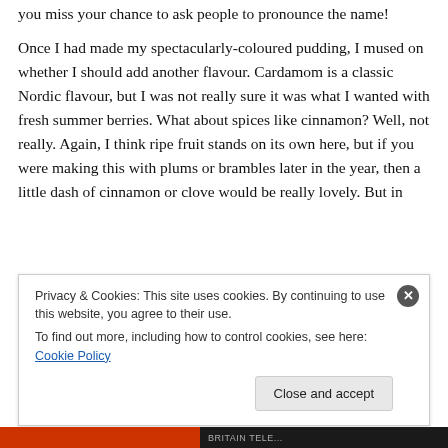you miss your chance to ask people to pronounce the name!
Once I had made my spectacularly-coloured pudding, I mused on whether I should add another flavour. Cardamom is a classic Nordic flavour, but I was not really sure it was what I wanted with fresh summer berries. What about spices like cinnamon? Well, not really. Again, I think ripe fruit stands on its own here, but if you were making this with plums or brambles later in the year, then a little dash of cinnamon or clove would be really lovely. But in
Privacy & Cookies: This site uses cookies. By continuing to use this website, you agree to their use.
To find out more, including how to control cookies, see here: Cookie Policy